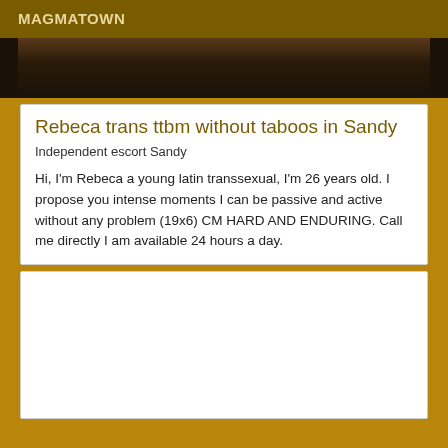MAGMATOWN
[Figure (photo): Partial photo strip showing a dark background with skin tones visible at top]
Rebeca trans ttbm without taboos in Sandy
Independent escort Sandy
Hi, I'm Rebeca a young latin transsexual, I'm 26 years old. I propose you intense moments I can be passive and active without any problem (19x6) CM HARD AND ENDURING. Call me directly I am available 24 hours a day.